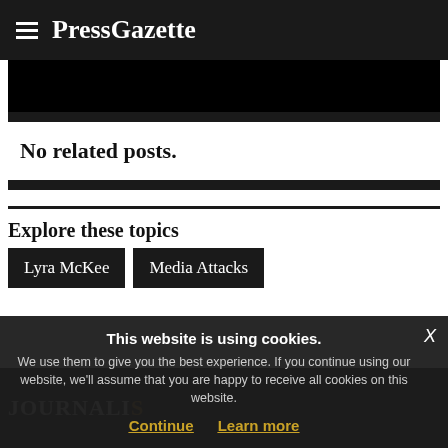PressGazette
[Figure (photo): Black image placeholder area]
No related posts.
Explore these topics
Lyra McKee
Media Attacks
[Figure (photo): Background image partially visible behind cookie banner showing journalism-related content]
This website is using cookies.
We use them to give you the best experience. If you continue using our website, we'll assume that you are happy to receive all cookies on this website.
Continue   Learn more